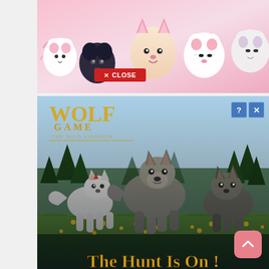[Figure (illustration): Top banner advertisement with cute cartoon animal characters on a pink/rosy background. Shows chibi-style creatures including round blob animals with simple expressions.]
[Figure (illustration): Close button overlay on top ad: red rectangle with 'X CLOSE' text in white.]
[Figure (illustration): Wolf Game: The Wild Kingdom advertisement. Shows three realistic wolves standing in a meadow with yellow flowers. Large golden text reads 'The Hunt Is On!' Logo in upper left shows 'Wolf Game The Wild Kingdom'. Info and close buttons in top right corner.]
[Figure (illustration): Pink rounded-rectangle back-to-top button with upward-pointing chevron arrow, in the lower right of the page.]